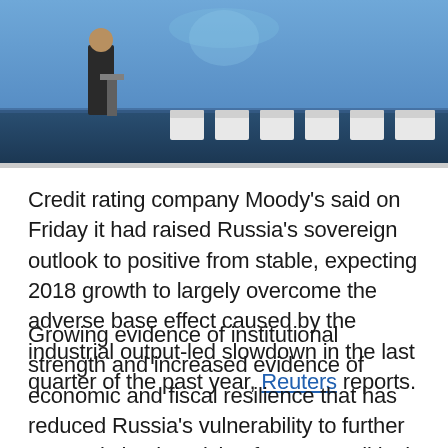[Figure (photo): A person standing at a podium on a conference stage with white chairs in the background, against a blue backdrop with floral decorations.]
Credit rating company Moody's said on Friday it had raised Russia's sovereign outlook to positive from stable, expecting 2018 growth to largely overcome the adverse base effect caused by the industrial output-led slowdown in the last quarter of the past year, Reuters reports.
Growing evidence of institutional strength and increased evidence of economic and fiscal resilience that has reduced Russia's vulnerability to further external shocks arising from geopolitical tensions or from renewed declines in oil prices were the reasons behind the decision, the rating agency said.